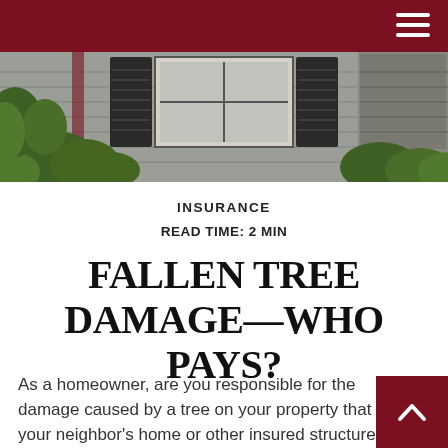INSURANCE
[Figure (photo): Photograph of a residential house exterior with gray siding, black shutters, a white window, and green shrubs/foliage in the foreground]
INSURANCE
READ TIME: 2 MIN
FALLEN TREE DAMAGE—WHO PAYS?
As a homeowner, are you responsible for the damage caused by a tree on your property that hits your neighbor's home or other insured structure, such as a garage or shed?